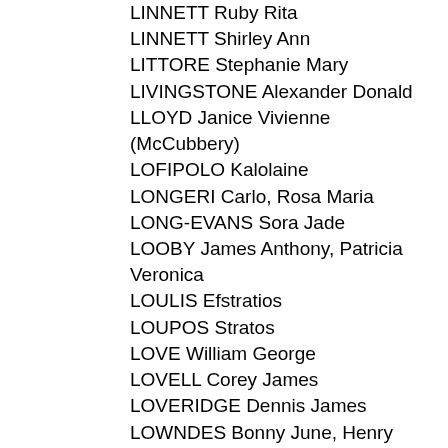LINNETT Ruby Rita
LINNETT Shirley Ann
LITTORE Stephanie Mary
LIVINGSTONE Alexander Donald
LLOYD Janice Vivienne (McCubbery)
LOFIPOLO Kalolaine
LONGERI Carlo, Rosa Maria
LONG-EVANS Sora Jade
LOOBY James Anthony, Patricia Veronica
LOULIS Efstratios
LOUPOS Stratos
LOVE William George
LOVELL Corey James
LOVERIDGE Dennis James
LOWNDES Bonny June, Henry Maxwell
LUCAS Brian William